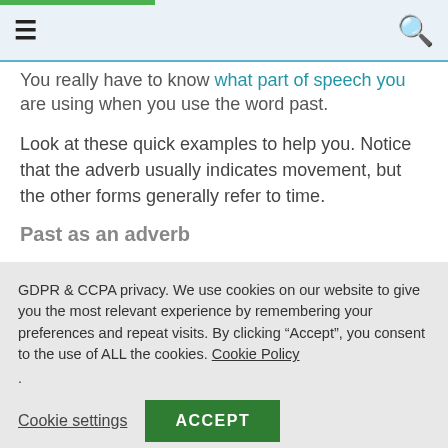Navigation bar with hamburger menu and search icon
You really have to know what part of speech you are using when you use the word past.
Look at these quick examples to help you. Notice that the adverb usually indicates movement, but the other forms generally refer to time.
Past as an adverb
GDPR & CCPA privacy. We use cookies on our website to give you the most relevant experience by remembering your preferences and repeat visits. By clicking "Accept", you consent to the use of ALL the cookies. Cookie Policy
.
Cookie settings  ACCEPT